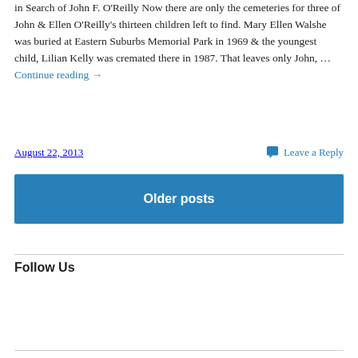in Search of John F. O'Reilly Now there are only the cemeteries for three of John & Ellen O'Reilly's thirteen children left to find. Mary Ellen Walshe was buried at Eastern Suburbs Memorial Park in 1969 & the youngest child, Lilian Kelly was cremated there in 1987. That leaves only John, … Continue reading →
August 22, 2013
Leave a Reply
Older posts
Follow Us